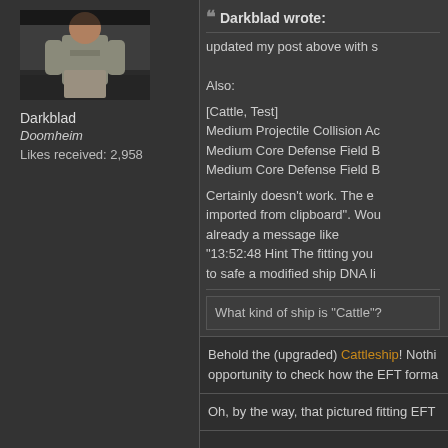[Figure (photo): Avatar photo of user Darkblad showing a person in a grey shirt on stairs]
Darkblad
Doomheim
Likes received: 2,958
Darkblad wrote:
updated my post above with s
Also:
[Cattle, Test]
Medium Projectile Collision Ac
Medium Core Defense Field B
Medium Core Defense Field B
Certainly doesn't work. The e imported from clipboard". Wou already a message like "13:52:48 Hint The fitting you to safe a modified ship DNA li
What kind of ship is "Cattle"?
Behold the (upgraded) Cattleship! Nothi opportunity to check how the EFT forma
Oh, by the way, that pictured fitting EFT